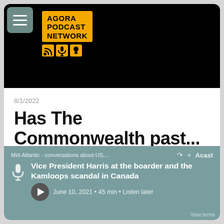[Figure (logo): Agora Podcast Network logo with orange background, black text, and icons for RSS, microphone, lightbulb, and book]
8/1/2022
Has The Commonwealth past...
The Commonwealth originated from the British Empire. The Commonwealth started in 1926. This is when it changed from the British Empire to the...
Mid-Atlantic - conversations about US,... Vice President Harris at the boarder and the Kamloops scandal in Canada June 10, 2021 • 45 min • Listen later